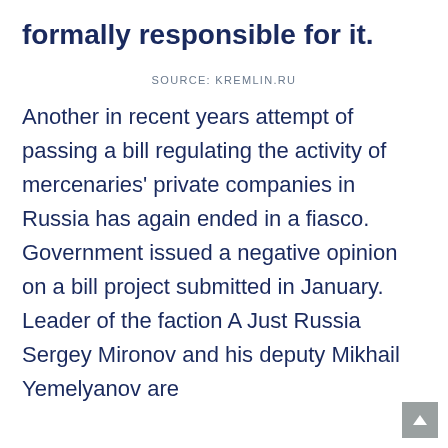formally responsible for it.
SOURCE: KREMLIN.RU
Another in recent years attempt of passing a bill regulating the activity of mercenaries' private companies in Russia has again ended in a fiasco. Government issued a negative opinion on a bill project submitted in January. Leader of the faction A Just Russia Sergey Mironov and his deputy Mikhail Yemelyanov are